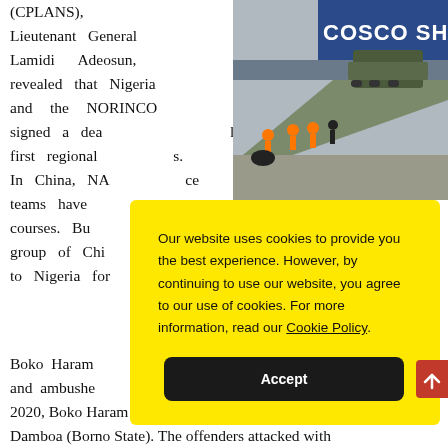(CPLANS), Lieutenant General Lamidi Adeosun, revealed that Nigeria and the NORINCO signed a deal... the first regional... In China, NA... ce teams have... ng courses. But... a group of Chi... el to Nigeria for...
[Figure (photo): Military vehicles being unloaded at a port with COSCO SH shipping container in background, workers in orange vests visible]
Our website uses cookies to provide you the best experience. However, by continuing to use our website, you agree to our use of cookies. For more information, read our Cookie Policy.
Boko Haram... sh and ambushe... 4, 2020, Boko Haram terrorists attacked NA troops in Damboa (Borno State). The offenders attacked with
[Figure (other): Red scroll-to-top button on right edge]